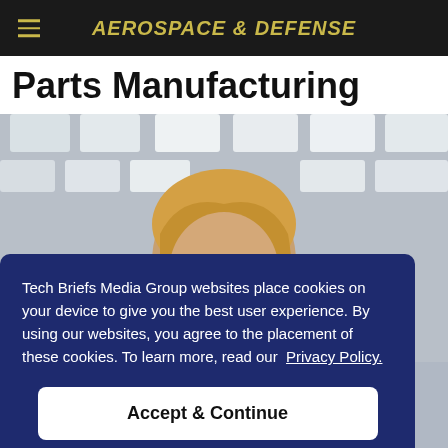AEROSPACE & DEFENSE
Parts Manufacturing
[Figure (photo): Woman with blonde hair and glasses looking down, in an industrial/manufacturing facility with bright overhead lighting]
Tech Briefs Media Group websites place cookies on your device to give you the best user experience. By using our websites, you agree to the placement of these cookies. To learn more, read our Privacy Policy.
Accept & Continue